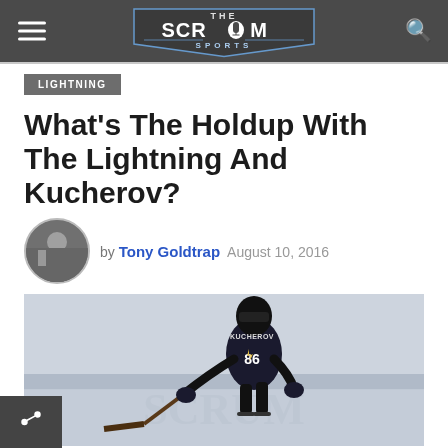The Scrum Sports
LIGHTNING
What’s The Holdup With The Lightning And Kucherov?
by Tony Goldtrap  August 10, 2016
[Figure (photo): Hockey player in Tampa Bay Lightning #86 Kucherov jersey skating on ice, leaning forward with stick, dark uniform with lightning bolt design]